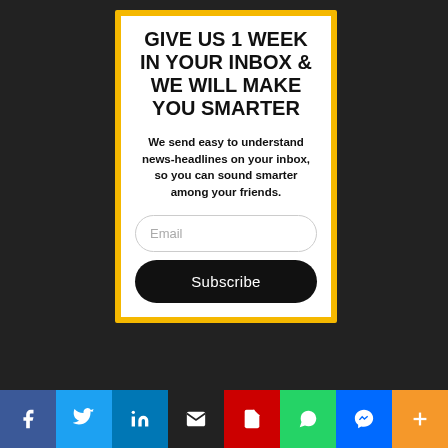GIVE US 1 WEEK IN YOUR INBOX & WE WILL MAKE YOU SMARTER
We send easy to understand news-headlines on your inbox, so you can sound smarter among your friends.
[Figure (screenshot): Email input field with placeholder text 'Email' and a black Subscribe button]
[Figure (infographic): Social share bar with icons: Facebook (blue), Twitter (light blue), LinkedIn (dark blue), Email (black), PDF (red), WhatsApp (green), Messenger (blue), More/Plus (orange)]